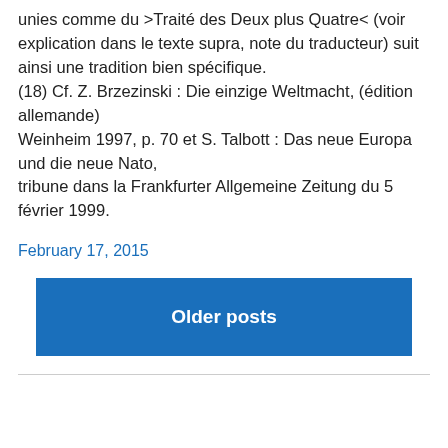unies comme du >Traité des Deux plus Quatre< (voir explication dans le texte supra, note du traducteur) suit ainsi une tradition bien spécifique.
(18) Cf. Z. Brzezinski : Die einzige Weltmacht, (édition allemande)
Weinheim 1997, p. 70 et S. Talbott : Das neue Europa und die neue Nato,
tribune dans la Frankfurter Allgemeine Zeitung du 5 février 1999.
February 17, 2015
Older posts